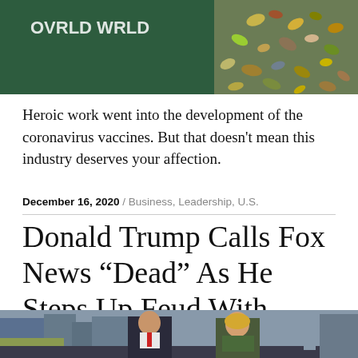[Figure (photo): Top banner image showing a green background with text partially visible and colorful pills/supplements on the right side. Hamburger menu icon visible on left.]
Heroic work went into the development of the coronavirus vaccines. But that doesn't mean this industry deserves your affection.
December 16, 2020 / Business, Leadership, U.S.
Donald Trump Calls Fox News “Dead” As He Steps Up Feud With Network
[Figure (photo): Bottom image showing two Fox News anchors (a man in a suit and a woman with blonde hair) sitting at a news desk with a city skyline visible in the background.]